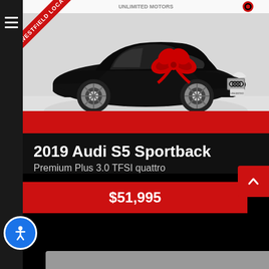[Figure (photo): Black 2019 Audi S5 Sportback with red bow on hood, shown in a dealership photo with 'WESTFIELD LOCATION' red diagonal banner in top-left corner. Unlimited Motors branding visible at top.]
2019 Audi S5 Sportback
Premium Plus 3.0 TFSI quattro
$51,995